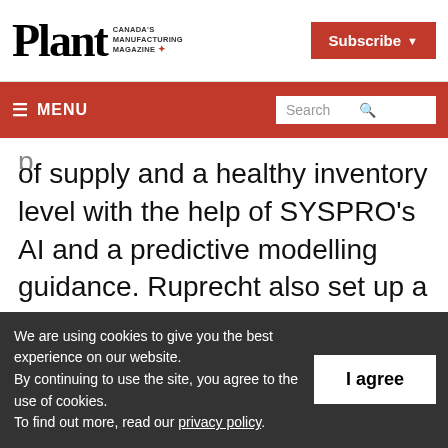Plant — Canada's Manufacturing Magazine
of supply and a healthy inventory level with the help of SYSPRO's AI and a predictive modelling guidance. Ruprecht also set up a data warehouse structure with the ability to pull data from their warehouse to SYSPRO. This allowed the business to speed up the
We are using cookies to give you the best experience on our website. By continuing to use the site, you agree to the use of cookies. To find out more, read our privacy policy.